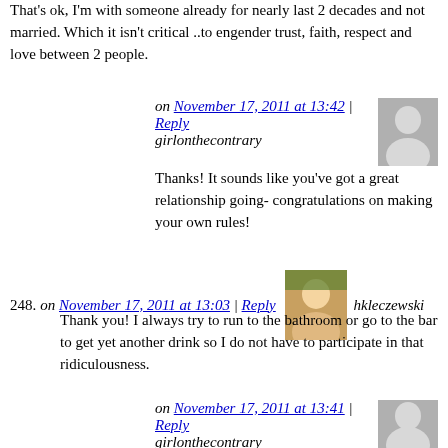That's ok, I'm with someone already for nearly last 2 decades and not married. Which it isn't critical ..to engender trust, faith, respect and love between 2 people.
on November 17, 2011 at 13:42 | Reply
girlonthecontrary
Thanks! It sounds like you've got a great relationship going- congratulations on making your own rules!
248. on November 17, 2011 at 13:03 | Reply   hkleczewski
Thank you! I always try to run to the bathroom or go to the bar to get yet another drink so I do not have to participate in that ridiculousness.
on November 17, 2011 at 13:41 | Reply
girlonthecontrary